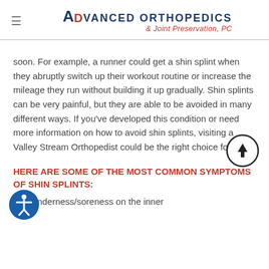Advanced Orthopedics & Joint Preservation, PC
soon. For example, a runner could get a shin splint when they abruptly switch up their workout routine or increase the mileage they run without building it up gradually. Shin splints can be very painful, but they are able to be avoided in many different ways. If you've developed this condition or need more information on how to avoid shin splints, visiting a Valley Stream Orthopedist could be the right choice for you!
HERE ARE SOME OF THE MOST COMMON SYMPTOMS OF SHIN SPLINTS:
Tenderness/soreness on the inner side of the shin bone